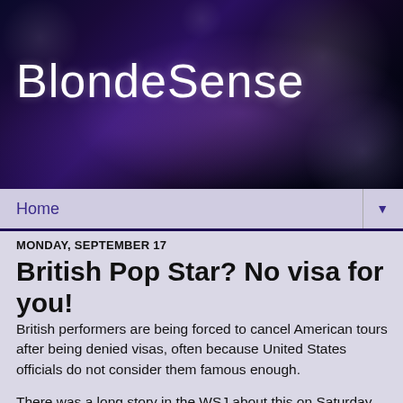BlondeSense
Home
MONDAY, SEPTEMBER 17
British Pop Star? No visa for you!
British performers are being forced to cancel American tours after being denied visas, often because United States officials do not consider them famous enough.
There was a long story in the WSJ about this on Saturday. Enough to make your head spin. The US wants acts to apply for their visas a year ahead of time, but booking agents in the US only book a few months in advance- it looks like booking agents will have to rethink their strategy. Another problem- today's hottest acts from Britain, may not even be all that hot in a year. But national security is more important